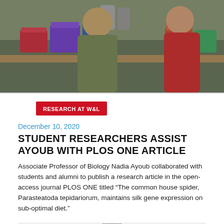[Figure (photo): Two researchers (one wearing a red top and olive cardigan) standing in a laboratory with colorful storage containers on the counter]
RESEARCH AT W&L
December 10, 2020
STUDENT RESEARCHERS ASSIST AYOUB WITH PLOS ONE ARTICLE
Associate Professor of Biology Nadia Ayoub collaborated with students and alumni to publish a research article in the open-access journal PLOS ONE titled “The common house spider, Parasteatoda tepidariorum, maintains silk gene expression on sub-optimal diet.”
[Figure (photo): Black and white headshot portrait photo of a person]